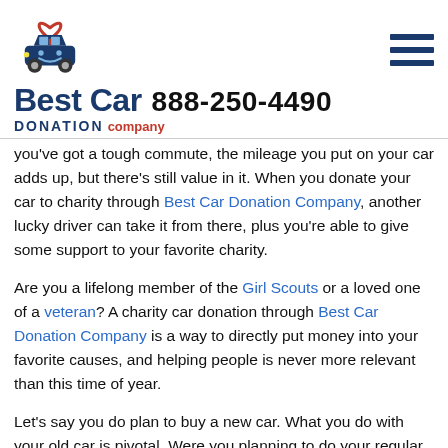[Figure (logo): Best Car Donation Company logo: a blue car with a red heart above it]
Best Car  888-250-4490
DONATION company
you've got a tough commute, the mileage you put on your car adds up, but there's still value in it. When you donate your car to charity through Best Car Donation Company, another lucky driver can take it from there, plus you're able to give some support to your favorite charity.
Are you a lifelong member of the Girl Scouts or a loved one of a veteran? A charity car donation through Best Car Donation Company is a way to directly put money into your favorite causes, and helping people is never more relevant than this time of year.
Let's say you do plan to buy a new car. What you do with your old car is pivotal. Were you planning to do your regular trade-in-to-the-dealer?
We've got a better idea. When you trade it in or sell your vehicle